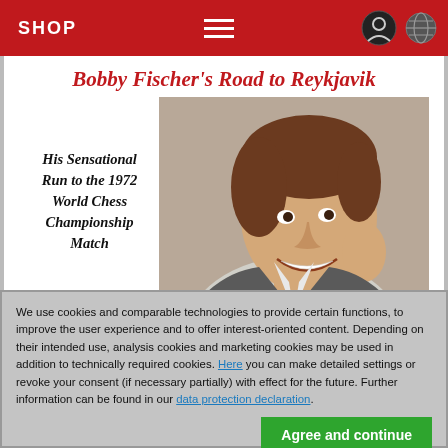SHOP
[Figure (photo): Book cover for 'Bobby Fischer's Road to Reykjavik' showing a smiling young man (Bobby Fischer) with hand to face, with subtitle 'His Sensational Run to the 1972 World Chess Championship Match']
We use cookies and comparable technologies to provide certain functions, to improve the user experience and to offer interest-oriented content. Depending on their intended use, analysis cookies and marketing cookies may be used in addition to technically required cookies. Here you can make detailed settings or revoke your consent (if necessary partially) with effect for the future. Further information can be found in our data protection declaration.